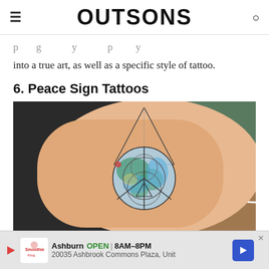OUTSONS
p...g...y...p...y...
into a true art, as well as a specific style of tattoo.
6. Peace Sign Tattoos
[Figure (photo): Photo of a watercolor peace sign tattoo on a forearm, incorporating a globe/earth design with geometric triangle elements, with a blurred background showing a Santa Claus figurine and other objects on a desk.]
Ashburn OPEN | 8AM–8PM 20035 Ashbrook Commons Plaza, Unit